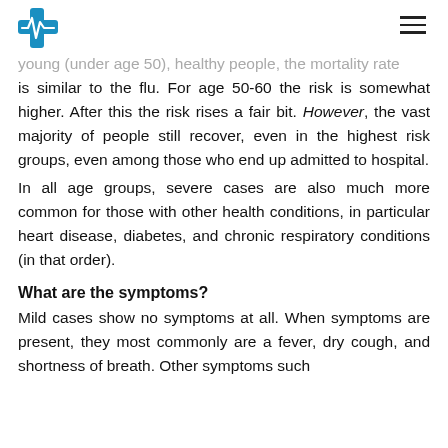[Logo: medical cross with heart rate line] [Hamburger menu icon]
young (under age 50), healthy people, the mortality rate is similar to the flu. For age 50-60 the risk is somewhat higher. After this the risk rises a fair bit. However, the vast majority of people still recover, even in the highest risk groups, even among those who end up admitted to hospital.
In all age groups, severe cases are also much more common for those with other health conditions, in particular heart disease, diabetes, and chronic respiratory conditions (in that order).
What are the symptoms?
Mild cases show no symptoms at all. When symptoms are present, they most commonly are a fever, dry cough, and shortness of breath. Other symptoms such